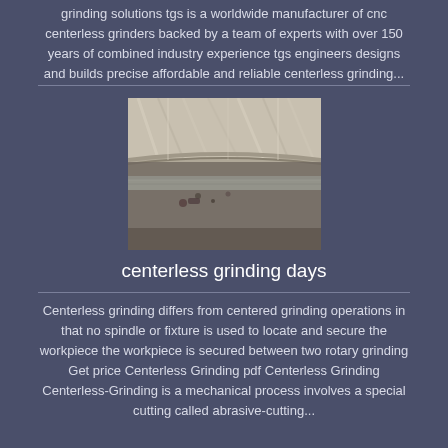grinding solutions tgs is a worldwide manufacturer of cnc centerless grinders backed by a team of experts with over 150 years of combined industry experience tgs engineers designs and builds precise affordable and reliable centerless grinding...
[Figure (photo): Close-up photograph of a centerless grinding wheel or grinding workpiece, showing metallic curved surfaces with grinding marks and debris/coolant around it.]
centerless grinding days
Centerless grinding differs from centered grinding operations in that no spindle or fixture is used to locate and secure the workpiece the workpiece is secured between two rotary grinding Get price Centerless Grinding pdf Centerless Grinding Centerless-Grinding is a mechanical process involves a special cutting called abrasive-cutting...